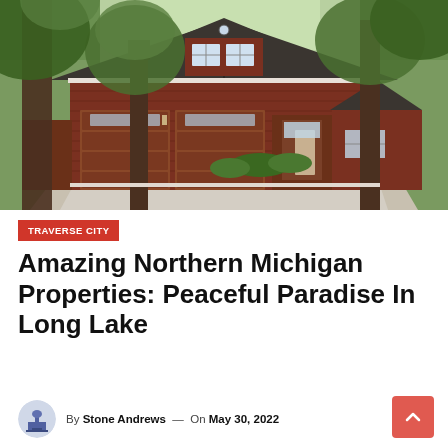[Figure (photo): Exterior photo of a large red-brown cedar/wood-sided house with a double garage, circular driveway, and tall trees surrounding it in a northern Michigan lakeside setting.]
TRAVERSE CITY
Amazing Northern Michigan Properties: Peaceful Paradise In Long Lake
By Stone Andrews — On May 30, 2022